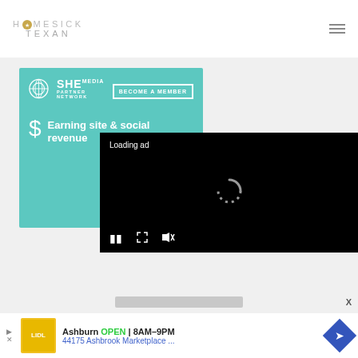HOMESICK TEXAN
[Figure (screenshot): SHE Media Partner Network advertisement banner with teal background showing logo, 'BECOME A MEMBER' button, dollar sign icon, and text 'Earning site & social revenue']
[Figure (screenshot): Video player overlay on black background showing 'Loading ad' text and spinner with video controls (pause, expand, mute)]
[Figure (screenshot): Bottom advertisement for Lidl store: 'Ashburn OPEN 8AM-9PM, 44175 Ashbrook Marketplace ...' with navigation arrow icon]